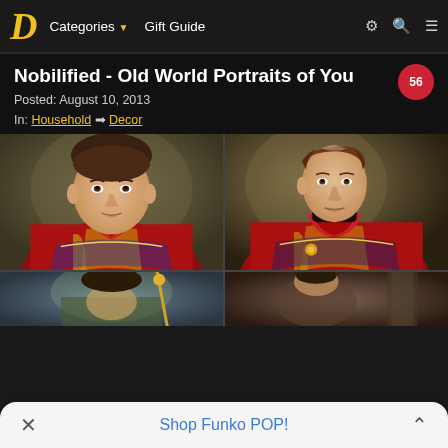Categories ▾  Gift Guide
Nobilified - Old World Portraits of You
Posted: August 10, 2013
In: Household ➡ Decor
[Figure (photo): Two-column grid of old-world portrait paintings: top row shows a modern person's face composited into a classical red military jacket portrait (left) beside the original classical Napoleon-style portrait (right); bottom row partially visible with more portrait images.]
Shop Funko POP!